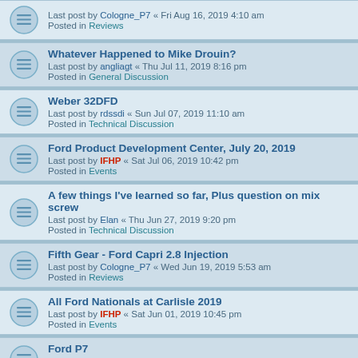Last post by Cologne_P7 « Fri Aug 16, 2019 4:10 am
Posted in Reviews
Whatever Happened to Mike Drouin?
Last post by angliagt « Thu Jul 11, 2019 8:16 pm
Posted in General Discussion
Weber 32DFD
Last post by rdssdi « Sun Jul 07, 2019 11:10 am
Posted in Technical Discussion
Ford Product Development Center, July 20, 2019
Last post by IFHP « Sat Jul 06, 2019 10:42 pm
Posted in Events
A few things I've learned so far, Plus question on mix screw
Last post by Elan « Thu Jun 27, 2019 9:20 pm
Posted in Technical Discussion
Fifth Gear - Ford Capri 2.8 Injection
Last post by Cologne_P7 « Wed Jun 19, 2019 5:53 am
Posted in Reviews
All Ford Nationals at Carlisle 2019
Last post by IFHP « Sat Jun 01, 2019 10:45 pm
Posted in Events
Ford P7
Last post by IFHP « Thu May 23, 2019 11:44 pm
Posted in Ford of Europe According to Wikipedia
I have a 3 spare Ford Kent blocks and cranks
Last post by nateweeks3@gmail.com « Mon Apr 01, 2019 7:09 am
Posted in Member Introductions